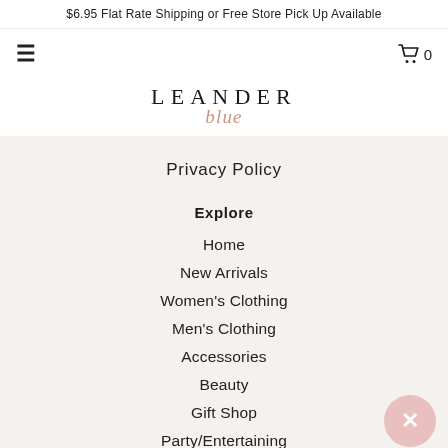$6.95 Flat Rate Shipping or Free Store Pick Up Available
[Figure (logo): Leander Blue brand logo with 'LEANDER' in spaced serif capitals and 'blue' in italic rose-gold script below]
Privacy Policy
Explore
Home
New Arrivals
Women's Clothing
Men's Clothing
Accessories
Beauty
Gift Shop
Party/Entertaining